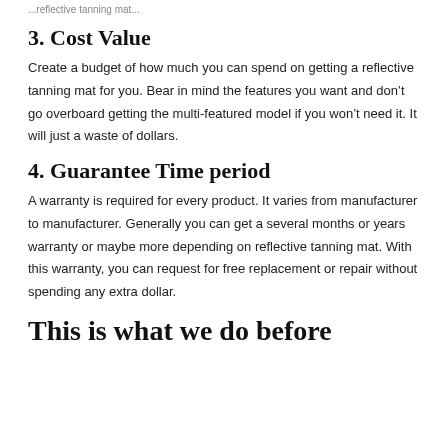...reflective tanning mat...
3. Cost Value
Create a budget of how much you can spend on getting a reflective tanning mat for you. Bear in mind the features you want and don’t go overboard getting the multi-featured model if you won’t need it. It will just a waste of dollars.
4. Guarantee Time period
A warranty is required for every product. It varies from manufacturer to manufacturer. Generally you can get a several months or years warranty or maybe more depending on reflective tanning mat. With this warranty, you can request for free replacement or repair without spending any extra dollar.
This is what we do before